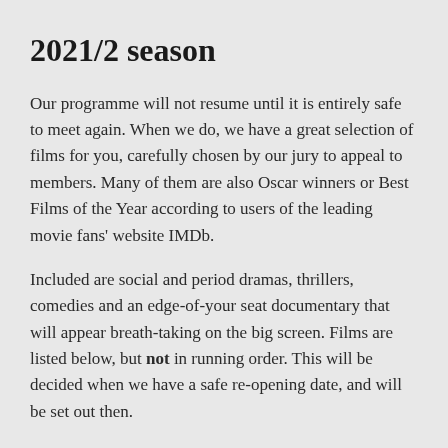2021/2 season
Our programme will not resume until it is entirely safe to meet again. When we do, we have a great selection of films for you, carefully chosen by our jury to appeal to members. Many of them are also Oscar winners or Best Films of the Year according to users of the leading movie fans' website IMDb.
Included are social and period dramas, thrillers, comedies and an edge-of-your seat documentary that will appear breath-taking on the big screen. Films are listed below, but not in running order. This will be decided when we have a safe re-opening date, and will be set out then.
Clicking on any titles in red will take you to more